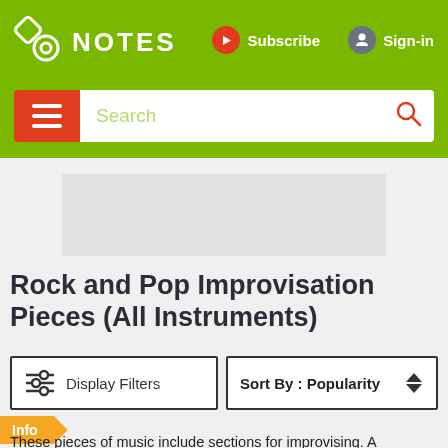NOTES — Subscribe Sign-in
[Figure (screenshot): Green navigation header bar with NOTES logo, Subscribe button, Sign-in button, hamburger menu, and search bar]
Rock and Pop Improvisation Pieces (All Instruments)
Display Filters
Sort By : Popularity
Info
These pieces of music include sections for improvising. A suggested scale is given and in some cases a notated example of the kind of improvisation that you